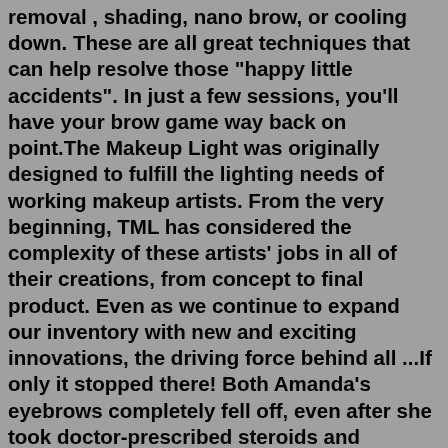removal , shading, nano brow, or cooling down. These are all great techniques that can help resolve those "happy little accidents". In just a few sessions, you'll have your brow game way back on point.The Makeup Light was originally designed to fulfill the lighting needs of working makeup artists. From the very beginning, TML has considered the complexity of these artists' jobs in all of their creations, from concept to final product. Even as we continue to expand our inventory with new and exciting innovations, the driving force behind all ...If only it stopped there! Both Amanda's eyebrows completely fell off, even after she took doctor-prescribed steroids and antibiotics. Amanda said she spent $360 for the microblading procedure and $1600 treating the infection. She has since filed charges against the clinic, which is also suing her for $150,000 in compensation after they lost a ... BESO BEAUTY OFFERS AN INTERACTIVE MICROBLADING COURSE FOR ASPIRING TECHNICIANS. The process is easy. Get started today by completing and